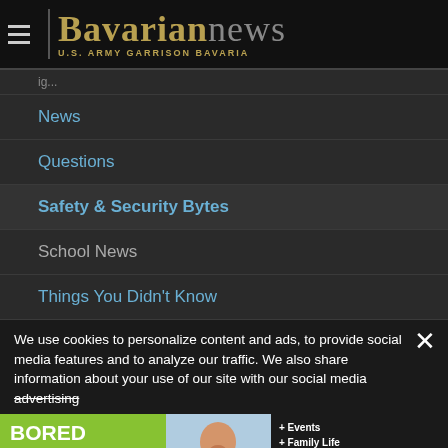Bavarian news — U.S. ARMY GARRISON BAVARIA
News
Questions
Safety & Security Bytes
School News
Things You Didn't Know
We use cookies to personalize content and ads, to provide social media features and to analyze our traffic. We also share information about your use of our site with our social media advertising partners who may combine it with other information...
[Figure (infographic): Ad banner: BORED CHILDREN? Military in Germany promotional advertisement with photo of bored child and list of activities including Events, Family Life, Kids Corner, Movie Schedule, more. FIND OUT MORE button.]